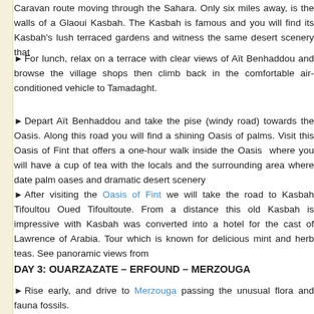Caravan route moving through the Sahara. Only six miles away, is the walls of a Glaoui Kasbah. The Kasbah is famous and you will find its Kasbah's lush terraced gardens and witness the same desert scenery that
► For lunch, relax on a terrace with clear views of Aït Benhaddou and browse the village shops then climb back in the comfortable air-conditioned vehicle to Tamadaght.
► Depart Aït Benhaddou and take the pise (windy road) towards the Oasis. Along this road you will find a shining Oasis of palms. Visit this Oasis of Fint that offers a one-hour walk inside the Oasis where you will have a cup of tea with the locals and the surrounding area where date palm oases and dramatic desert scenery
► After visiting the Oasis of Fint we will take the road to Kasbah Tifoultou Oued Tifoultoute. From a distance this old Kasbah is impressive with Kasbah was converted into a hotel for the cast of Lawrence of Arabia. Tour which is known for delicious mint and herb teas. See panoramic views from
DAY 3:  OUARZAZATE – ERFOUND – MERZOUGA
► Rise early, and drive to Merzouga passing the unusual flora and fauna fossils.
► You will find the Erg Chebbi Dunes at 22 km long. (North-South) 5 km the largest dunes in the Sahara, the dunes constantly shift due to the cons the dunes are constantly moving with wind fortune